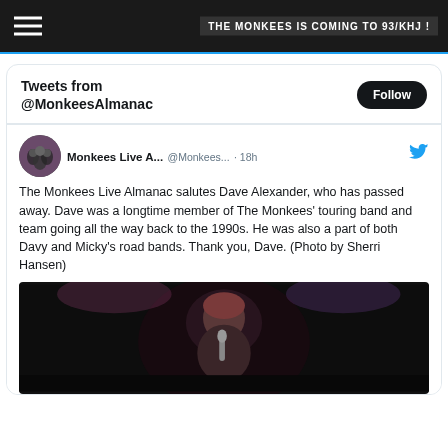THE MONKEES IS COMING TO 93/KHJ!
Tweets from @MonkeesAlmanac
Monkees Live A... @Monkees... · 18h — The Monkees Live Almanac salutes Dave Alexander, who has passed away. Dave was a longtime member of The Monkees' touring band and team going all the way back to the 1990s. He was also a part of both Davy and Micky's road bands. Thank you, Dave. (Photo by Sherri Hansen)
[Figure (photo): Dark photo of a person performing on stage with a microphone, lit by stage lighting with reddish/purple tones]